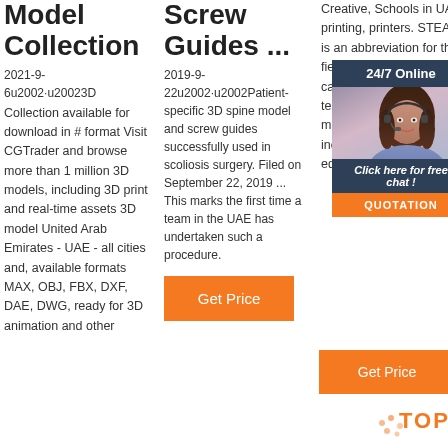Model Collection
2021-9-6u2002·u20023D Collection available for download in # format Visit CGTrader and browse more than 1 million 3D models, including 3D print and real-time assets 3D model United Arab Emirates - UAE - all cities and, available formats MAX, OBJ, FBX, DXF, DAE, DWG, ready for 3D animation and other
Screw Guides ...
2019-9-22u2002·u2002Patient-specific 3D spine model and screw guides successfully used in scoliosis surgery. Filed on September 22, 2019 ... This marks the first time a team in the UAE has undertaken such a procedure.
[Figure (other): Orange Get Price button for column 2]
Creative, Schools in UAE, printing, printers. STEAM is an abbreviation for the fields of study in categories of science, technology, engineering, mathematics, initially, includes design, and education.
[Figure (other): 24/7 Online chat widget with photo of woman wearing headset, Click here for free chat link, and QUOTATION button]
[Figure (other): Orange Get Price button for column 3 with TOP logo]
QUOTATION